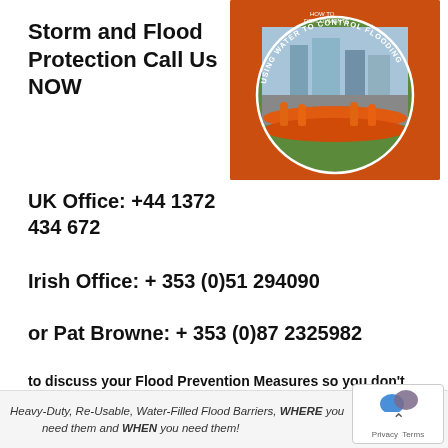Storm and Flood Protection Call Us NOW
[Figure (photo): Orange water-filled flood barrier being deployed by workers in high-visibility gear. Circular image showing 'USING WATER TO CONTROL FLOODING' text arc. Urban street scene visible in background.]
UK Office: +44 1372 434 672
Irish Office: + 353 (0)51 294090
or Pat Browne: + 353 (0)87 2325982
to discuss your Flood Prevention Measures so you don't have cause for regret.
Heavy-Duty, Re-Usable, Water-Filled Flood Barriers, WHERE you need them and WHEN you need them!